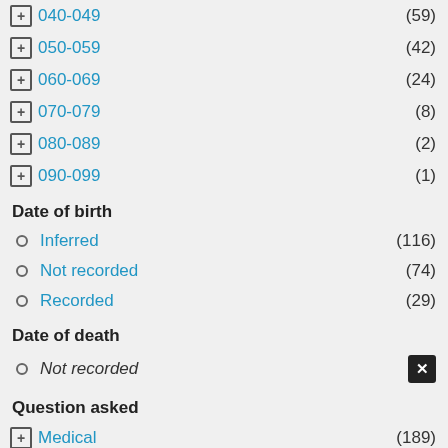040-049 (59)
050-059 (42)
060-069 (24)
070-079 (8)
080-089 (2)
090-099 (1)
Date of birth
Inferred (116)
Not recorded (74)
Recorded (29)
Date of death
Not recorded [selected/active]
Question asked
Medical (189)